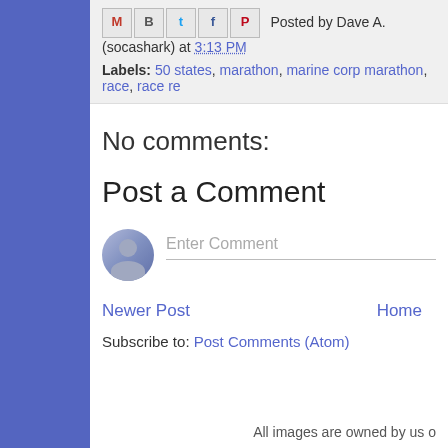Posted by Dave A. (socashark) at 3:13 PM
Labels: 50 states, marathon, marine corp marathon, race, race re
No comments:
Post a Comment
Enter Comment
Newer Post   Home
Subscribe to: Post Comments (Atom)
All images are owned by us o